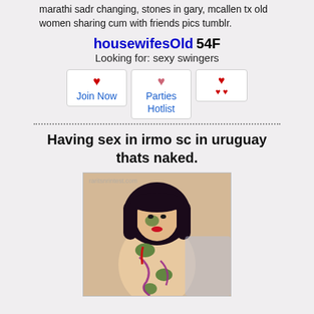marathi sadr changing, stones in gary, mcallen tx old women sharing cum with friends pics tumblr.
housewifesOld 54F
Looking for: sexy swingers
[Figure (infographic): Three buttons: Join Now (red heart icon), Parties / Hotlist (pink heart icon), and a hearts icon button]
Having sex in irmo sc in uruguay thats naked.
[Figure (photo): Body-painted woman with dark bob haircut, colorful paint on body, watermark text 'raritsnrintest.com']